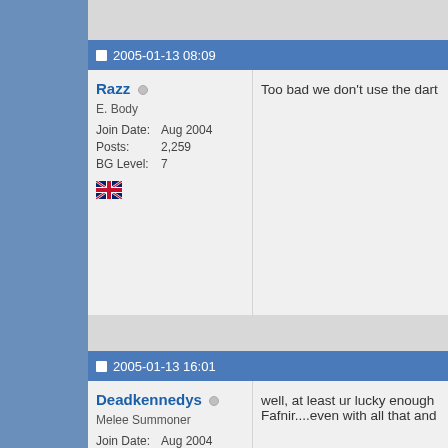2005-01-13 08:09
Razz
E. Body
Join Date: Aug 2004
Posts: 2,259
BG Level: 7
Too bad we don't use the dart
2005-01-13 16:01
Deadkennedys
Melee Summoner
Join Date: Aug 2004
Posts: 43
BG Level: 1
well, at least ur lucky enough Fafnir....even with all that and
2005-01-14 10:38